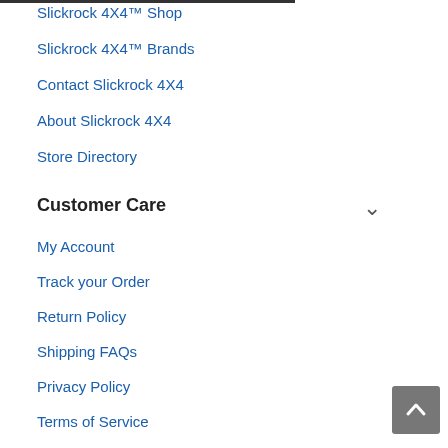Slickrock 4X4™ Shop
Slickrock 4X4™ Brands
Contact Slickrock 4X4
About Slickrock 4X4
Store Directory
Customer Care
My Account
Track your Order
Return Policy
Shipping FAQs
Privacy Policy
Terms of Service